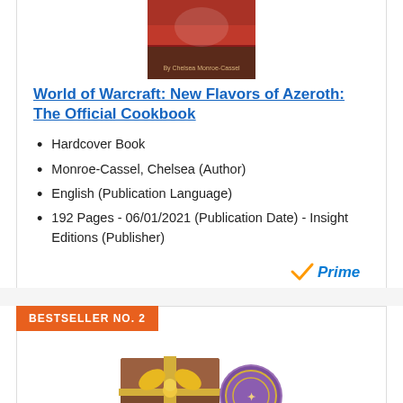[Figure (photo): Book cover image for World of Warcraft: New Flavors of Azeroth: The Official Cookbook]
World of Warcraft: New Flavors of Azeroth: The Official Cookbook
Hardcover Book
Monroe-Cassel, Chelsea (Author)
English (Publication Language)
192 Pages - 06/01/2021 (Publication Date) - Insight Editions (Publisher)
[Figure (logo): Amazon Prime logo with checkmark]
Check Latest Price
BESTSELLER NO. 2
[Figure (photo): World of Warcraft collectible gift box with golden bow and a circular emblem/medallion]